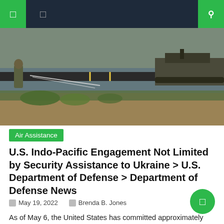Navigation bar with icons
[Figure (photo): Military personnel and a tank on a pontoon bridge over a river, with muddy bank and vegetation in the foreground.]
Air Assistance
U.S. Indo-Pacific Engagement Not Limited by Security Assistance to Ukraine > U.S. Department of Defense > Department of Defense News
May 19, 2022   Brenda B. Jones
As of May 6, the United States has committed approximately $4.5 billion in security assistance to Ukraine. Thousands of pieces of military hardware and over 50 million cartridges were included. But US aid to Ukraine does not affect its focus on the Indo-Pacific region, or limit its ability